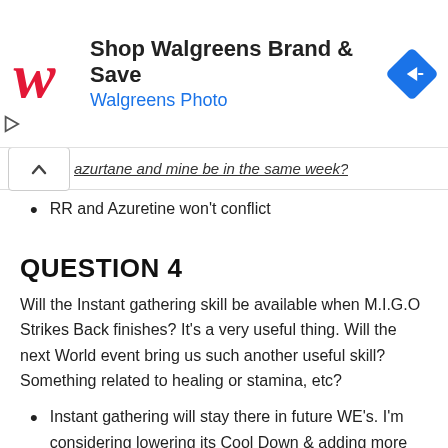[Figure (other): Walgreens advertisement banner: Walgreens red cursive W logo, text 'Shop Walgreens Brand & Save' and 'Walgreens Photo' in blue, blue diamond navigation icon on right, small play icon on lower left.]
azurtane and mine be in the same week?
RR and Azuretine won't conflict
QUESTION 4
Will the Instant gathering skill be available when M.I.G.O Strikes Back finishes? It's a very useful thing. Will the next World event bring us such another useful skill? Something related to healing or stamina, etc?
Instant gathering will stay there in future WE's. I'm considering lowering its Cool Down & adding more similar features in the future.